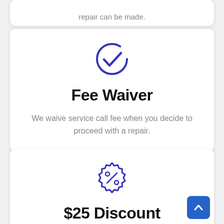repair can be made.
Fee Waiver
We waive service call fee when you decide to proceed with a repair.
$25 Discount